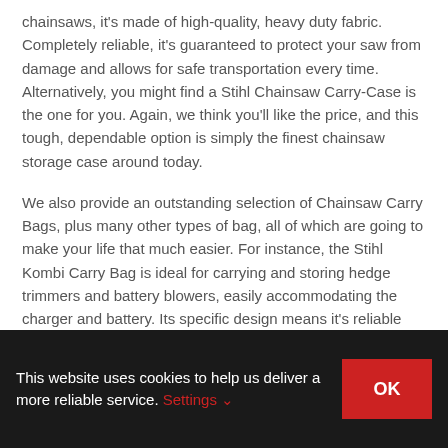chainsaws, it's made of high-quality, heavy duty fabric. Completely reliable, it's guaranteed to protect your saw from damage and allows for safe transportation every time. Alternatively, you might find a Stihl Chainsaw Carry-Case is the one for you. Again, we think you'll like the price, and this tough, dependable option is simply the finest chainsaw storage case around today.
We also provide an outstanding selection of Chainsaw Carry Bags, plus many other types of bag, all of which are going to make your life that much easier. For instance, the Stihl Kombi Carry Bag is ideal for carrying and storing hedge trimmers and battery blowers, easily accommodating the charger and battery. Its specific design means it's reliable and easy to use, transporting
This website uses cookies to help us deliver a more reliable service. Settings ✓  OK